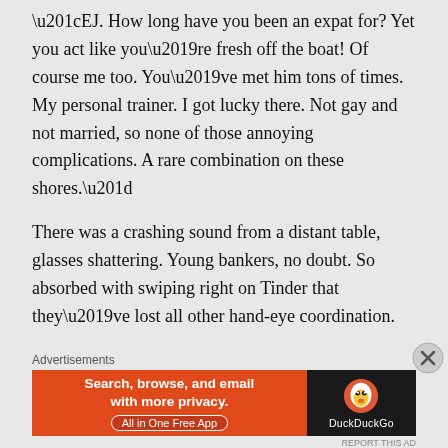“EJ. How long have you been an expat for? Yet you act like you’re fresh off the boat! Of course me too. You’ve met him tons of times. My personal trainer. I got lucky there. Not gay and not married, so none of those annoying complications. A rare combination on these shores.”
There was a crashing sound from a distant table, glasses shattering. Young bankers, no doubt. So absorbed with swiping right on Tinder that they’ve lost all other hand-eye coordination.
Advertisements
[Figure (other): DuckDuckGo advertisement banner: orange left side with text 'Search, browse, and email with more privacy. All in One Free App', dark right side with DuckDuckGo duck logo and DuckDuckGo brand name.]